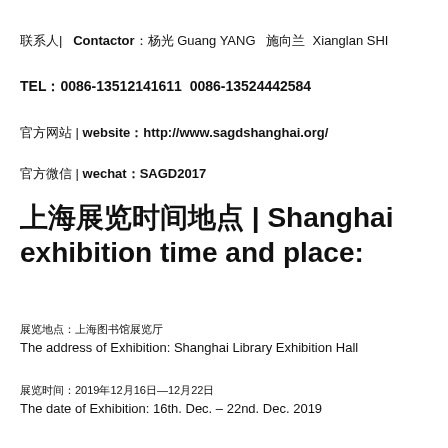联系人| Contactor：杨光 Guang YANG  施向兰 Xianglan SHI
TEL：0086-13512141611  0086-13524442584
官方网站 | website：http://www.sagdshanghai.org/
官方微信 | wechat：SAGD2017
上海展览时间地点 | Shanghai exhibition time and place:
展览地点：上海图书馆展览厅
The address of Exhibition: Shanghai Library Exhibition Hall
展览时间：2019年12月16日—12月22日
The date of Exhibition: 16th. Dec. – 22nd. Dec. 2019